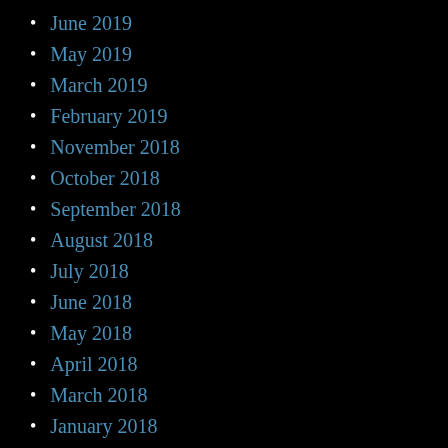June 2019
May 2019
March 2019
February 2019
November 2018
October 2018
September 2018
August 2018
July 2018
June 2018
May 2018
April 2018
March 2018
January 2018
November 2016
October 2016